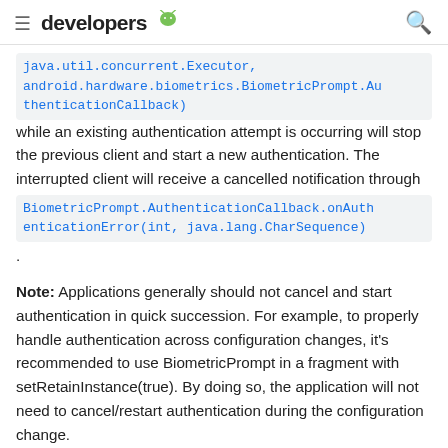≡ developers [android logo] 🔍
java.util.concurrent.Executor, android.hardware.biometrics.BiometricPrompt.AuthenticationCallback) while an existing authentication attempt is occurring will stop the previous client and start a new authentication. The interrupted client will receive a cancelled notification through BiometricPrompt.AuthenticationCallback.onAuthenticationError(int, java.lang.CharSequence).
Note: Applications generally should not cancel and start authentication in quick succession. For example, to properly handle authentication across configuration changes, it's recommended to use BiometricPrompt in a fragment with setRetainInstance(true). By doing so, the application will not need to cancel/restart authentication during the configuration change.
Requires Manifest.permission.USE_BIOMETRIC